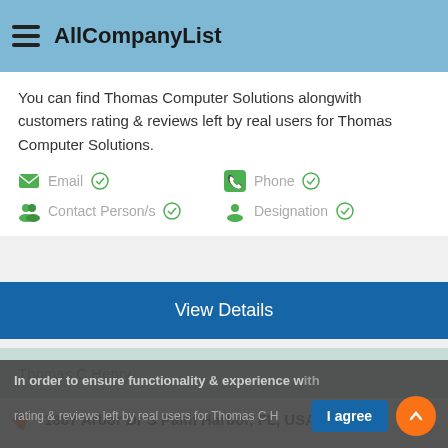AllCompanyList
You can find Thomas Computer Solutions alongwith customers rating & reviews left by real users for Thomas Computer Solutions.
Email  Contact Person/s  Phone  Designation
View Details
Thomas C Henry
1887 Arbor Dr S Palm Harbor, FL, USA
In order to ensure functionality & experience with cookies. Do you agree?